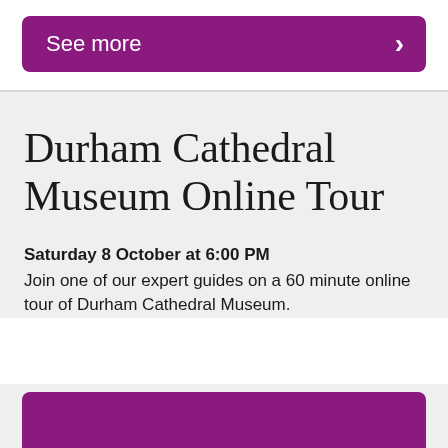See more
Durham Cathedral Museum Online Tour
Saturday 8 October at 6:00 PM
Join one of our expert guides on a 60 minute online tour of Durham Cathedral Museum.